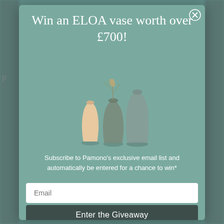Win an ELOA vase worth over £700!
[Figure (photo): Three decorative vases: a small cream/peach vase on the left, a medium dark grey-green vase in the center with a dried floral stem, and arrangement on a teal background]
Subscribe to Pamono's exclusive email list and automatically be entered for a chance to win*
Email
Enter the Giveaway
*Please read our terms and conditions here